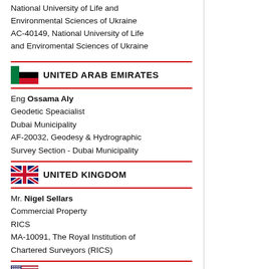National University of Life and Environmental Sciences of Ukraine
AC-40149, National University of Life and Enviromental Sciences of Ukraine
UNITED ARAB EMIRATES
Eng Ossama Aly
Geodetic Speacialist
Dubai Municipality
AF-20032, Geodesy & Hydrographic Survey Section - Dubai Municipality
UNITED KINGDOM
Mr. Nigel Sellars
Commercial Property
RICS
MA-10091, The Royal Institution of Chartered Surveyors (RICS)
UNITED STATES